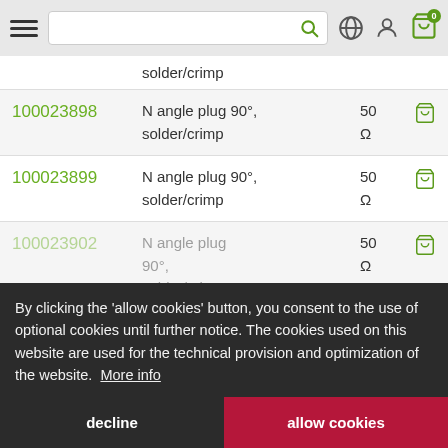Navigation bar with search and icons
| Product ID | Description | Spec |  |
| --- | --- | --- | --- |
|  | solder/crimp |  |  |
| 100023898 | N angle plug 90°, solder/crimp | 50 Ω |  |
| 100023899 | N angle plug 90°, solder/crimp | 50 Ω |  |
| 100023902 | N angle plug 90°, solder/crimp | 50 Ω |  |
| 100023905 | N plug, crimp/crimp | 50 Ω |  |
By clicking the 'allow cookies' button, you consent to the use of optional cookies until further notice. The cookies used on this website are used for the technical provision and optimization of the website. More info
decline
allow cookies